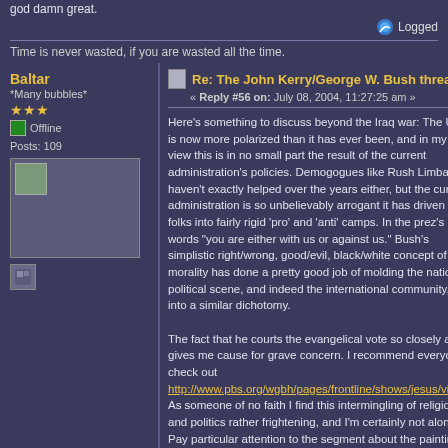god damn great.
Logged
Time is never wasted, if you are wasted all the time.
Baltar
*Many bubbles*
Offline
Posts: 109
Re: The John Kerry/George W. Bush thread
« Reply #56 on: July 08, 2004, 11:27:25 am »
Here's something to discuss beyond the Iraq war:  The USA is now more polarized than it has ever been, and in my view this is in no small part the result of the current administration's policies.  Demogogues like Rush Limbaugh haven't exactly helped over the years either, but the current administration is so unbelievably arrogant it has driven folks into fairly rigid 'pro' and 'anti' camps.  In the prez's own words "you are either with us or against us."  Bush's simplistic right/wrong, good/evil, black/white concept of morality has done a pretty good job of molding the national political scene, and indeed the international community, into a similar dichotomy.

The fact that he courts the evangelical vote so closely also gives me cause for grave concern.  I recommend everyone check out http://www.pbs.org/wgbh/pages/frontline/shows/jesus/view/.  As someone of no faith I find this intermingling of religion and politics rather frightening, and I'm certainly not alone.  Pay particular attention to the segment about the painting in the Governor's mansion.